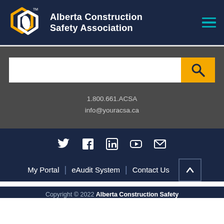[Figure (logo): Alberta Construction Safety Association logo with interlocking yellow and white hexagon shapes and organization name in white text on dark navy background]
[Figure (infographic): Search bar with white input field and yellow search button with magnifying glass icon on dark grey background]
1.800.661.ACSA
info@youracsa.ca
[Figure (infographic): Social media icons: Twitter, Facebook, LinkedIn, YouTube, Email on dark navy background]
My Portal | eAudit System | Contact Us
Copyright © 2022 Alberta Construction Safety